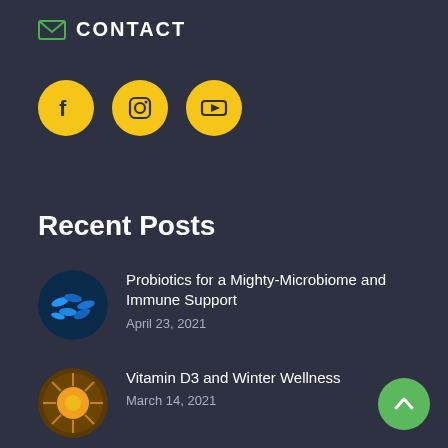CONTACT
[Figure (infographic): Social media icons: Facebook, Instagram, YouTube — yellow circles with dark icons]
Recent Posts
[Figure (photo): Circular thumbnail of blue bacteria/microbiome cells]
Probiotics for a Mighty-Microbiome and Immune Support
April 23, 2021
[Figure (photo): Circular thumbnail of yellow sunflower close-up]
Vitamin D3 and Winter Wellness
March 14, 2021
[Figure (photo): Circular thumbnail of supplements/joint health items]
Five Supplements for Joint Health That Aren't Glucosamine